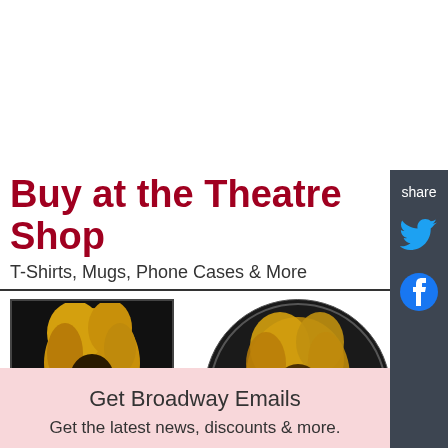Buy at the Theatre Shop
T-Shirts, Mugs, Phone Cases & More
[Figure (photo): Tina Magnet product image - black background with gold illustrated silhouette of Tina Turner and gold script 'Tina' text]
Tina Magnet
[Figure (photo): Tina Lapel Pin product image - circular black pin with gold illustrated silhouette of Tina Turner]
Tina Lapel Pin
Get Broadway Emails
Get the latest news, discounts & more.